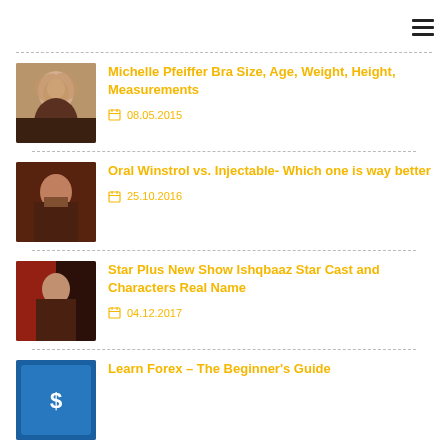≡ (hamburger menu)
Michelle Pfeiffer Bra Size, Age, Weight, Height, Measurements — 08.05.2015
Oral Winstrol vs. Injectable- Which one is way better — 25.10.2016
Star Plus New Show Ishqbaaz Star Cast and Characters Real Name — 04.12.2017
Learn Forex – The Beginner's Guide